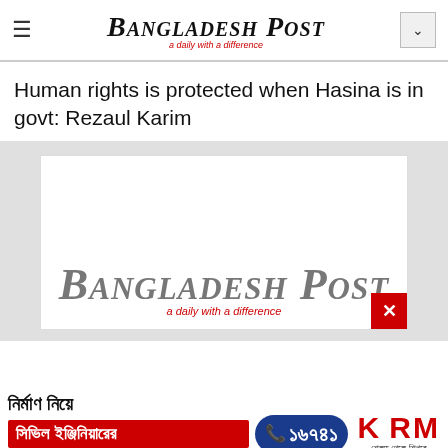Bangladesh Post — a daily with a difference
Human rights is protected when Hasina is in govt: Rezaul Karim
[Figure (logo): Bangladesh Post newspaper logo — large blackletter text 'Bangladesh Post' with red italic subtitle 'a daily with a difference' on white card background with a red close/X button]
[Figure (infographic): Bengali advertisement banner for KSRM civil engineering consultation — Bengali text, red banner, blue phone badge showing 16741, and KSRM logo]